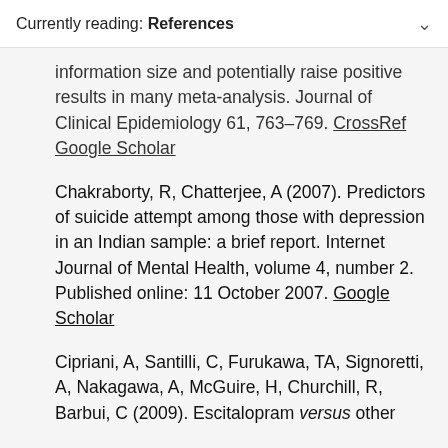Currently reading: References
information size and potentially raise positive results in many meta-analysis. Journal of Clinical Epidemiology 61, 763–769. CrossRef  Google Scholar
Chakraborty, R, Chatterjee, A (2007). Predictors of suicide attempt among those with depression in an Indian sample: a brief report. Internet Journal of Mental Health, volume 4, number 2. Published online: 11 October 2007. Google Scholar
Cipriani, A, Santilli, C, Furukawa, TA, Signoretti, A, Nakagawa, A, McGuire, H, Churchill, R, Barbui, C (2009). Escitalopram versus other